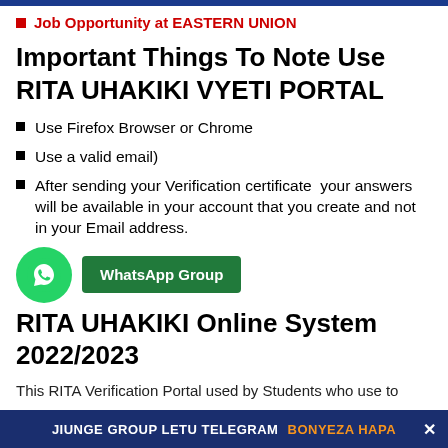Job Opportunity at EASTERN UNION
Important Things To Note Use RITA UHAKIKI VYETI PORTAL
Use Firefox Browser or Chrome
Use a valid email)
After sending your Verification certificate  your answers will be available in your account that you create and not in your Email address.
[Figure (other): WhatsApp icon green circle with phone logo and green WhatsApp Group button]
RITA UHAKIKI Online System 2022/2023
This RITA Verification Portal used by Students who use to
JIUNGE GROUP LETU TELEGRAM BONYEZA HAPA